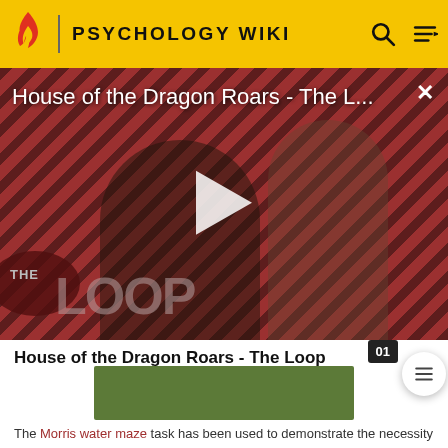PSYCHOLOGY WIKI
[Figure (screenshot): Video thumbnail showing House of the Dragon Roars - The Loop with two characters on a red diagonal-striped background with The Loop branding and a play button overlay]
House of the Dragon Roars - The Loop
[Figure (photo): Green rectangular image partially visible]
The Morris water maze task has been used to demonstrate the necessity of NMDA receptors in establishing spatial memories.